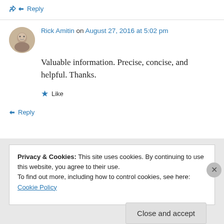↳ Reply
Rick Amitin on August 27, 2016 at 5:02 pm
Valuable information. Precise, concise, and helpful. Thanks.
★ Like
↳ Reply
Privacy & Cookies: This site uses cookies. By continuing to use this website, you agree to their use.
To find out more, including how to control cookies, see here: Cookie Policy